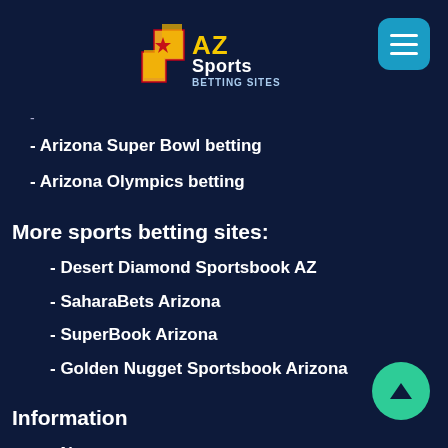[Figure (logo): AZ Sports Betting Sites logo with Arizona state shape in gold/red]
- Arizona Super Bowl betting
- Arizona Olympics betting
More sports betting sites:
- Desert Diamond Sportsbook AZ
- SaharaBets Arizona
- SuperBook Arizona
- Golden Nugget Sportsbook Arizona
Information
- News
- About us